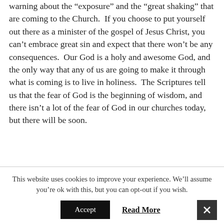warning about the "exposure" and the "great shaking" that are coming to the Church.  If you choose to put yourself out there as a minister of the gospel of Jesus Christ, you can't embrace great sin and expect that there won't be any consequences.  Our God is a holy and awesome God, and the only way that any of us are going to make it through what is coming is to live in holiness.  The Scriptures tell us that the fear of God is the beginning of wisdom, and there isn't a lot of the fear of God in our churches today, but there will be soon.
North Korea Threat Turns Hot, FBI & CIA Look for Traitor, Economic Update
This website uses cookies to improve your experience. We'll assume you're ok with this, but you can opt-out if you wish.